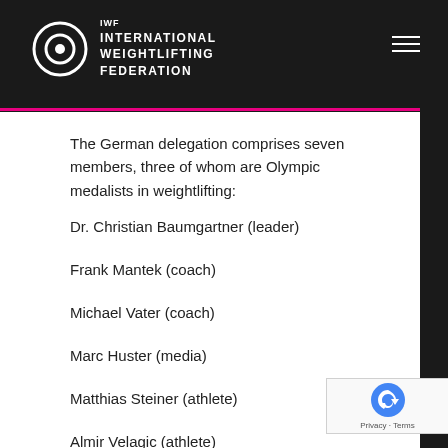IWF - INTERNATIONAL WEIGHTLIFTING FEDERATION
The German delegation comprises seven members, three of whom are Olympic medalists in weightlifting:
Dr. Christian Baumgartner (leader)
Frank Mantek (coach)
Michael Vater (coach)
Marc Huster (media)
Matthias Steiner (athlete)
Almir Velagic (athlete)
Jürgen Spieß   (athlete)